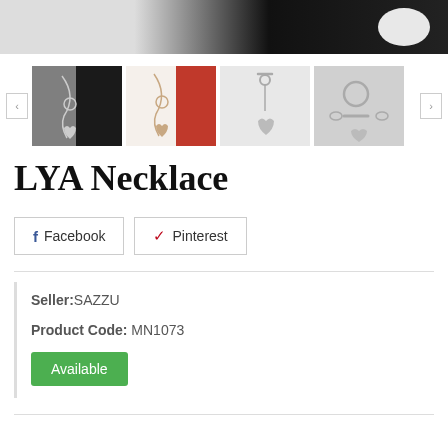[Figure (photo): Top banner image showing necklace product on black and white background with a white oval/pill shape on the right]
[Figure (photo): Thumbnail carousel showing four necklace product images: silver chain with heart pendant on black background, rose gold chain on red background, silver toggle necklace with heart pendant on light background, close-up of toggle clasp on gray background. Navigation arrows on left and right.]
LYA Necklace
Facebook   Pinterest
Seller:SAZZU
Product Code: MN1073
Available